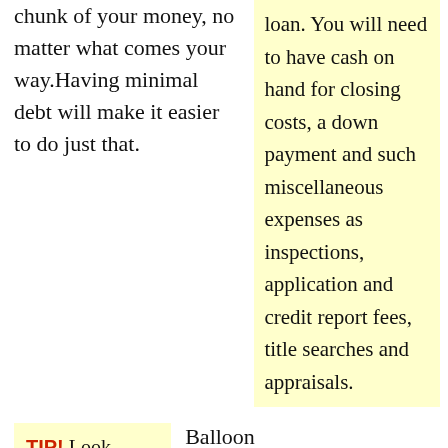chunk of your money, no matter what comes your way.Having minimal debt will make it easier to do just that.
before you apply for a loan. You will need to have cash on hand for closing costs, a down payment and such miscellaneous expenses as inspections, application and credit report fees, title searches and appraisals.
TIP! Look online for financing for a mortgage. Online lenders offer great rates today.
Balloon mortgages are often easier ones to get approved for. These types of loans are short term and when the loan expires, and when it expires the owed balance will need to be refinanced. This is risky due to possible